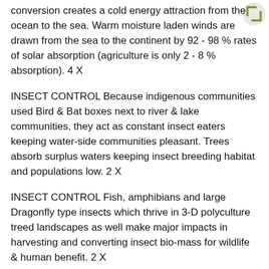conversion creates a cold energy attraction from the ocean to the sea. Warm moisture laden winds are drawn from the sea to the continent by 92 - 98 % rates of solar absorption (agriculture is only 2 - 8 % absorption). 4 X
[Figure (other): Corner bracket icon in green/olive color, top right]
INSECT CONTROL Because indigenous communities used Bird & Bat boxes next to river & lake communities, they act as constant insect eaters keeping water-side communities pleasant. Trees absorb surplus waters keeping insect breeding habitat and populations low. 2 X
INSECT CONTROL Fish, amphibians and large Dragonfly type insects which thrive in 3-D polyculture treed landscapes as well make major impacts in harvesting and converting insect bio-mass for wildlife & human benefit. 2 X
BIO-DIVERSITY Massive 3-D tree-led polyculture